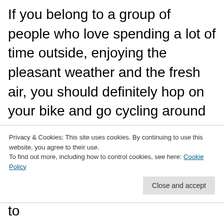If you belong to a group of people who love spending a lot of time outside, enjoying the pleasant weather and the fresh air, you should definitely hop on your bike and go cycling around the neighborhood. Just an hour on your bike will be more than enough to stay physically active, hang out with your friends, and relax to the max, which is crucial if you don't have enough time just for
Privacy & Cookies: This site uses cookies. By continuing to use this website, you agree to their use.
To find out more, including how to control cookies, see here: Cookie Policy
which means that you'll be able to